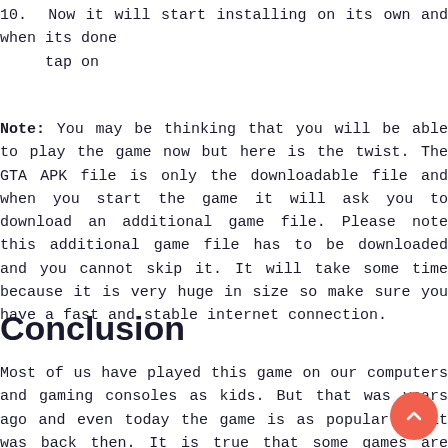10.  Now it will start installing on its own and when its done tap on
Note: You may be thinking that you will be able to play the game now but here is the twist. The GTA APK file is only the downloadable file and when you start the game it will ask you to download an additional game file. Please note this additional game file has to be downloaded and you cannot skip it. It will take some time because it is very huge in size so make sure you have a fast and stable internet connection.
Conclusion
Most of us have played this game on our computers and gaming consoles as kids. But that was years ago and even today the game is as popular as it was back then. It is true that some games are evergreen and this GTA is one of those games.